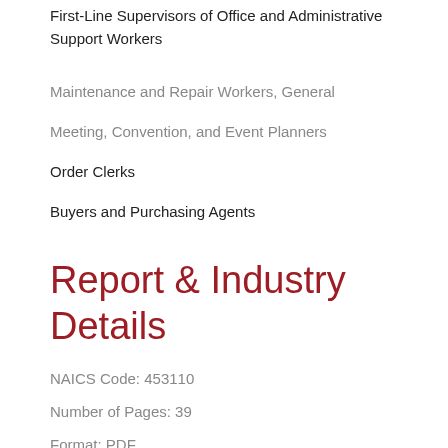First-Line Supervisors of Office and Administrative Support Workers
Maintenance and Repair Workers, General
Meeting, Convention, and Event Planners
Order Clerks
Buyers and Purchasing Agents
Report & Industry Details
NAICS Code: 453110
Number of Pages: 39
Format: PDF